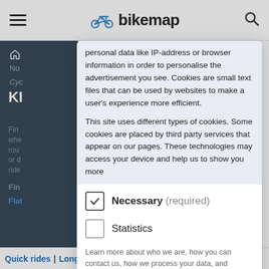[Figure (screenshot): Bikemap website navigation bar with hamburger menu, bicycle logo and 'bikemap' text, and search icon]
personal data like IP-address or browser information in order to personalise the advertisement you see. Cookies are small text files that can be used by websites to make a user's experience more efficient.
This site uses different types of cookies. Some cookies are placed by third party services that appear on our pages. These technologies may access your device and help us to show you more relevant advertising and your internet experience
Necessary (required) — checked checkbox
Statistics — unchecked checkbox
Learn more about who we are, how you can contact us, how we process your data, and detailed information on all our cookies by visiting our Privacy Policy and our Cookie Declaration.
Save Selection | Accept all
Quick rides | Long tours | Top rated routes